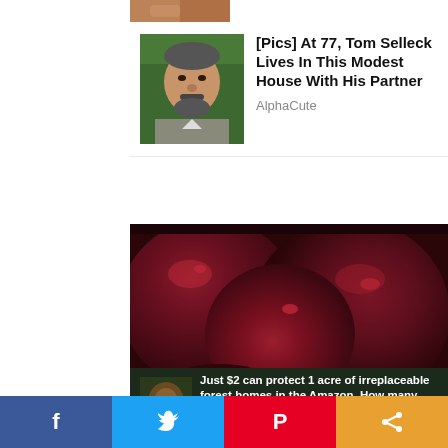[Figure (photo): Partial top strip showing a cropped image at the top of the page]
[Figure (photo): Thumbnail photo of Tom Selleck, older man with mustache and beard outdoors]
[Pics] At 77, Tom Selleck Lives In This Modest House With His Partner
AlphaCute
[Figure (photo): Close-up photo of dark red/burgundy beet vegetables, glossy and wet]
[Figure (photo): Advertisement banner: Just $2 can protect 1 acre of irreplaceable forest homes in the Amazon. How many acres are you willing to protect? PROTECT FORESTS NOW]
[Figure (infographic): Social share bar at bottom with Facebook, Twitter, Pinterest, and share buttons]